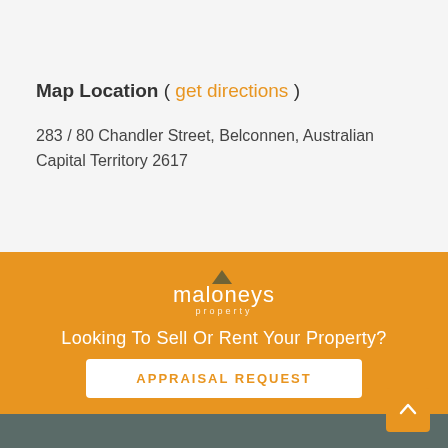Map Location ( get directions )
283 / 80 Chandler Street, Belconnen, Australian Capital Territory 2617
[Figure (logo): Maloneys Property logo with caret symbol above text]
Looking To Sell Or Rent Your Property?
APPRAISAL REQUEST